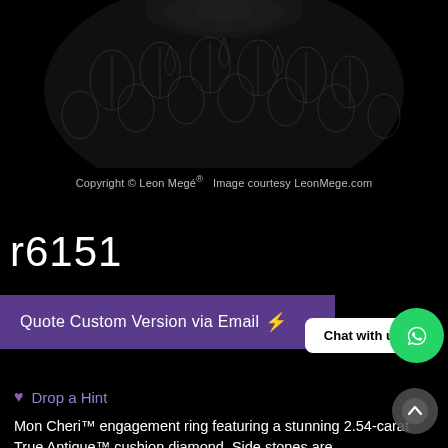[Figure (photo): Dark product photo of a diamond engagement ring with ornamental carved metal setting, shown against black background. Copyright watermark visible.]
Copyright © Leon Megé®   Image courtesy LeonMege.com
r6151
Quote Custom Version via Email ⚡
Chat with us
♥ Drop a Hint
Mon Cheri™ engagement ring featuring a stunning 2.54-carat True Antique™ cushion diamond. Side stones are